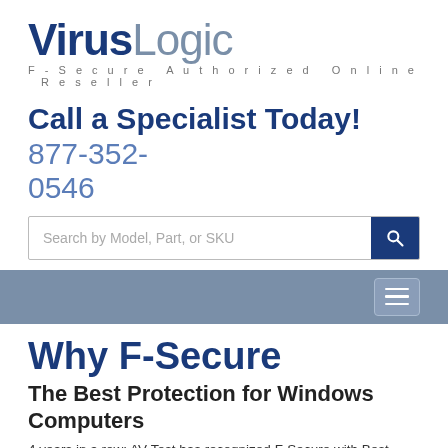[Figure (logo): VirusLogic logo with 'Virus' in bold dark blue and 'Logic' in light gray, followed by tagline 'F-Secure Authorized Online Reseller' in spaced gray text]
Call a Specialist Today! 877-352-0546
Search by Model, Part, or SKU
[Figure (screenshot): Gray navigation bar with hamburger menu icon on the right]
Why F-Secure
The Best Protection for Windows Computers
4 years in a row: AV-Test has recognized F-Secure with Best Corporate Protection award for Windows endpoint products.